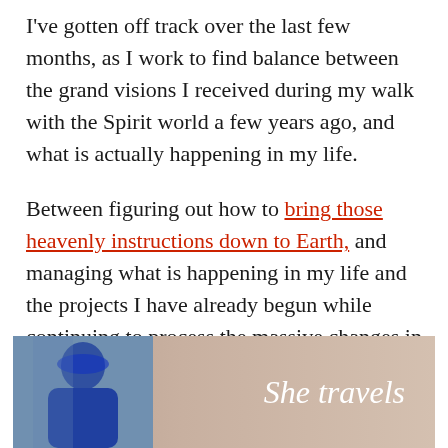I've gotten off track over the last few months, as I work to find balance between the grand visions I received during my walk with the Spirit world a few years ago, and what is actually happening in my life.
Between figuring out how to bring those heavenly instructions down to Earth, and managing what is happening in my life and the projects I have already begun while continuing to process the massive changes in my life amidst the raging chaos outside – it's easy to feel overwhelmed. I'm sure you feel it too.
[Figure (illustration): Partial image showing a blue-toned figure on the left side and text 'She travels' in white italic on the right, against a warm beige/brown background.]